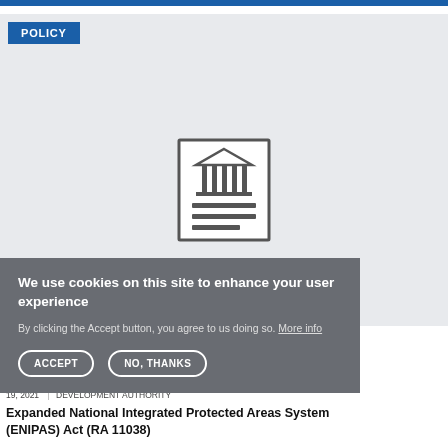POLICY
[Figure (illustration): Document/institution icon showing a building with columns and horizontal lines below it, inside a square border]
We use cookies on this site to enhance your user experience
By clicking the Accept button, you agree to us doing so. More info
ACCEPT   NO, THANKS
FEBRUARY 19, 2021 | PHILIPPINE NATIONAL ECONOMIC AND DEVELOPMENT AUTHORITY
Expanded National Integrated Protected Areas System (ENIPAS) Act (RA 11038)